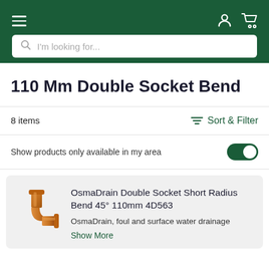Navigation bar with hamburger menu, search box, user icon, and cart icon
110 Mm Double Socket Bend
8 items
Sort & Filter
Show products only available in my area
OsmaDrain Double Socket Short Radius Bend 45° 110mm 4D563
OsmaDrain, foul and surface water drainage
Show More